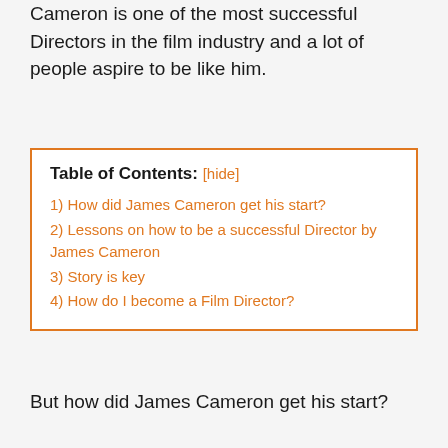Cameron is one of the most successful Directors in the film industry and a lot of people aspire to be like him.
| 1)  How did James Cameron get his start? |
| 2)  Lessons on how to be a successful Director by James Cameron |
| 3)  Story is key |
| 4)  How do I become a Film Director? |
But how did James Cameron get his start?